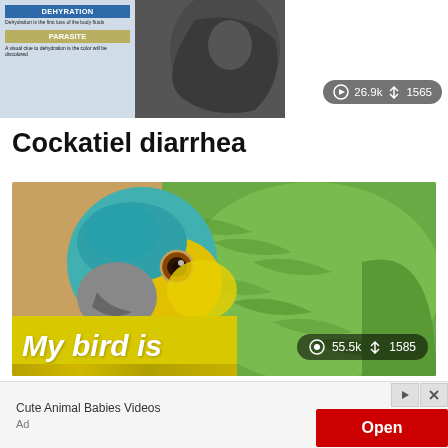[Figure (screenshot): Thumbnail image showing bird health topics: DEHYDRATION, PARASITE, YEAST with a bird photo on the right. Stats overlay: 26.9k views, 1565 shares.]
Cockatiel diarrhea
[Figure (photo): Close-up photo of a green and teal parrot/amazon parrot with orange eye and yellow feathers around face. Yellow banner overlay reading 'My bird is' with torn edge. Stats overlay: 55.5k views, 1585 shares.]
Never do in an emergency with a parrot
[Figure (screenshot): Advertisement banner: Cute Animal Babies Videos channel with Open button (red) and ad controls.]